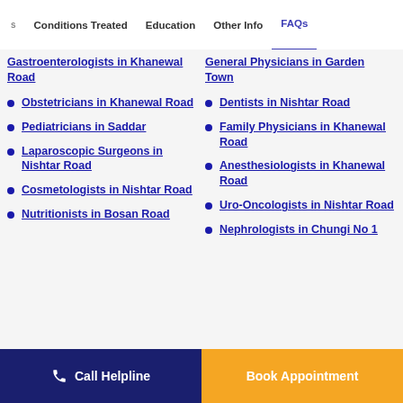Conditions Treated | Education | Other Info | FAQs
Gastroenterologists in Khanewal Road
General Physicians in Garden Town
Obstetricians in Khanewal Road
Dentists in Nishtar Road
Pediatricians in Saddar
Family Physicians in Khanewal Road
Laparoscopic Surgeons in Nishtar Road
Anesthesiologists in Khanewal Road
Cosmetologists in Nishtar Road
Uro-Oncologists in Nishtar Road
Nutritionists in Bosan Road
Nephrologists in Chungi No 1
Call Helpline
Book Appointment